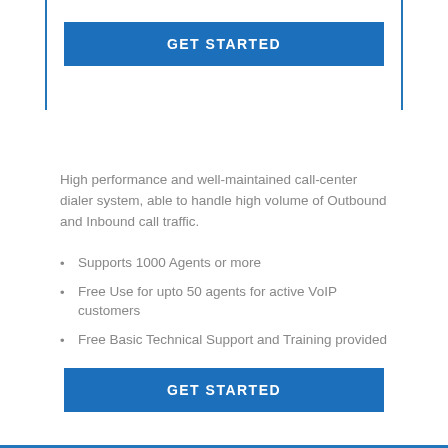[Figure (other): Blue 'GET STARTED' button at top center]
High performance and well-maintained call-center dialer system, able to handle high volume of Outbound and Inbound call traffic.
Supports 1000 Agents or more
Free Use for upto 50 agents for active VoIP customers
Free Basic Technical Support and Training provided
[Figure (other): Blue 'GET STARTED' button at bottom center]